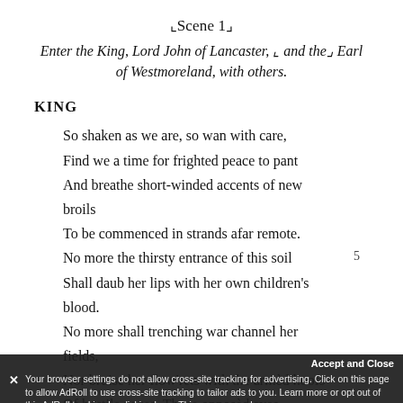Scene 1
Enter the King, Lord John of Lancaster, and the Earl of Westmoreland, with others.
KING
So shaken as we are, so wan with care,
Find we a time for frighted peace to pant
And breathe short-winded accents of new broils
To be commenced in strands afar remote.
No more the thirsty entrance of this soil
Shall daub her lips with her own children's blood.
No more shall trenching war channel her fields,
Nor bruise her flow'rets with the armèd hoofs
Of hostile paces. Those opposèd eyes,
Which, like the meteors of a troubled heaven,
All of one nature, of one substance bred,
And furious close of civil butchery,
Your browser settings do not allow cross-site tracking for advertising. Click on this page to allow AdRoll to use cross-site tracking to tailor ads to you. Learn more or opt out of this AdRoll tracking by clicking here. This message only appears once.